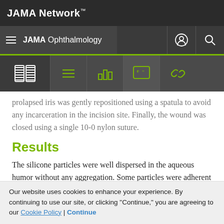JAMA Network™
JAMA Ophthalmology
prolapsed iris was gently repositioned using a spatula to avoid any incarceration in the incision site. Finally, the wound was closed using a single 10-0 nylon suture.
Results
The silicone particles were well dispersed in the aqueous humor without any aggregation. Some particles were adherent to the corneal endothelium and the anterior surface of the lens and iris, but most were seen to be
Our website uses cookies to enhance your experience. By continuing to use our site, or clicking "Continue," you are agreeing to our Cookie Policy | Continue